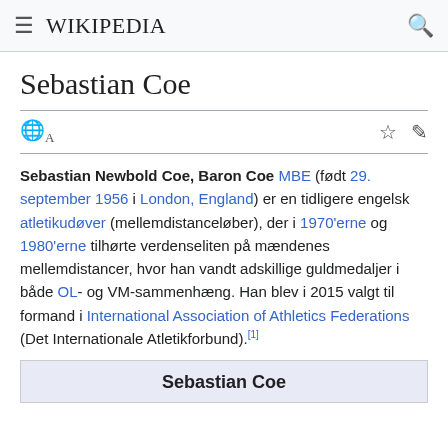Wikipedia
Sebastian Coe
Sebastian Newbold Coe, Baron Coe MBE (født 29. september 1956 i London, England) er en tidligere engelsk atletikudøver (mellemdistanceløber), der i 1970'erne og 1980'erne tilhørte verdenseliten på mændenes mellemdistancer, hvor han vandt adskillige guldmedaljer i både OL- og VM-sammenhæng. Han blev i 2015 valgt til formand i International Association of Athletics Federations (Det Internationale Atletikforbund).[1]
| Sebastian Coe |
| --- |